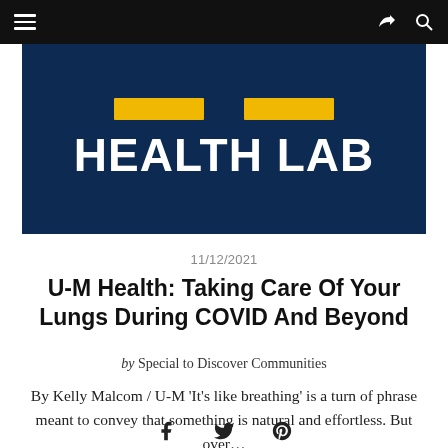Navigation bar with hamburger menu, share icon, and search icon
[Figure (logo): U-M Health Lab logo on dark navy blue background with yellow accent bars and white bold text reading HEALTH LAB]
11/12/2021
U-M Health: Taking Care Of Your Lungs During COVID And Beyond
by Special to Discover Communities
By Kelly Malcom / U-M 'It's like breathing' is a turn of phrase meant to convey that something is natural and effortless. But over...